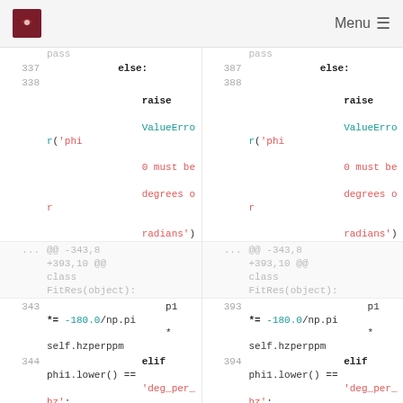Menu
[Figure (screenshot): Code diff view showing two columns of Python source code with line numbers. Left column lines 337-345, right column lines 387-395. Code shows raise ValueError for phi0 must be degrees or radians, followed by class FitRes(object) context hunk, and phi1.lower() == 'deg_per_hz' elif branch.]